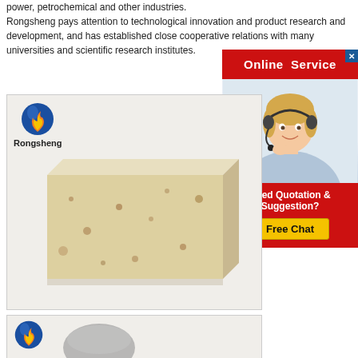power, petrochemical and other industries. Rongsheng pays attention to technological innovation and product research and development, and has established close cooperative relations with many universities and scientific research institutes.
[Figure (infographic): Online Service advertisement banner with red background, woman with headset photo, 'Need Quotation & Suggestion?' text and yellow 'Free Chat' button]
[Figure (photo): Rongsheng branded refractory firebrick product photo - a pale yellow/cream colored rectangular brick with brown speckles on a light background, with Rongsheng logo (flame and globe) in top left]
[Figure (photo): Second Rongsheng product image partially visible at bottom with logo]